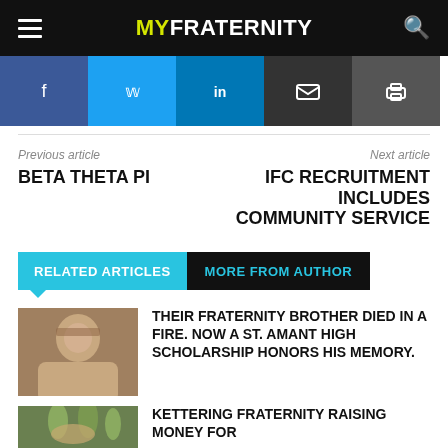MYFRATERNITY
[Figure (infographic): Social sharing buttons: Facebook, Twitter, LinkedIn, Email, Print]
Previous article
BETA THETA PI
Next article
IFC RECRUITMENT INCLUDES COMMUNITY SERVICE
RELATED ARTICLES | MORE FROM AUTHOR
THEIR FRATERNITY BROTHER DIED IN A FIRE. NOW A ST. AMANT HIGH SCHOLARSHIP HONORS HIS MEMORY.
KETTERING FRATERNITY RAISING MONEY FOR